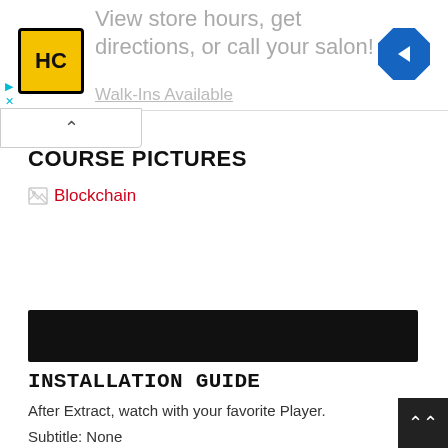[Figure (screenshot): Advertisement banner showing HC logo (yellow circle with HC text), text 'View store hours, get directions, or call your salon!' in gray, and a blue navigation arrow icon on the right. Small cyan play/close controls on the left side. Partial text 'Walk-Ins Available' at bottom.]
[Figure (screenshot): Modal/popup top bar with an up chevron arrow button, white background with border.]
COURSE PICTURES
[Figure (other): Broken image link showing broken image icon followed by red link text 'Blockchain']
[Figure (screenshot): Black banner/rectangle, likely a video thumbnail placeholder]
INSTALLATION GUIDE
After Extract, watch with your favorite Player.
Subtitle: None